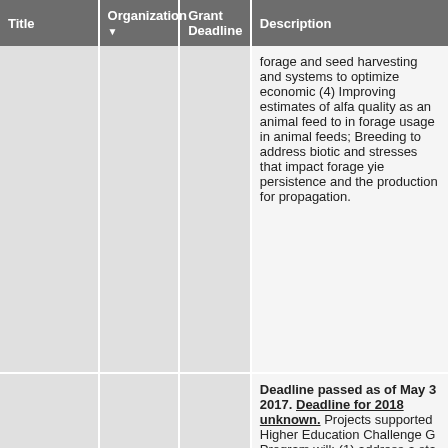| Title | Organization ▼ | Grant Deadline | Description |
| --- | --- | --- | --- |
|  |  |  | forage and seed harvesting and systems to optimize economic (4) Improving estimates of alfa quality as an animal feed to in forage usage in animal feeds; Breeding to address biotic and stresses that impact forage yie persistence and the production for propagation. |
| Higher Education Challenge Grants Program | NIFA |  | Deadline passed as of May 3 2017. Deadline for 2018 unknown. Projects supported Higher Education Challenge G Program will: (1) address a sta regional, national, or internatio educational need; (2) involve a or non-traditional approach tow addressing that need that can model to others; (3) encourage facilitate better working relatio the university science and edu community, as well as between |